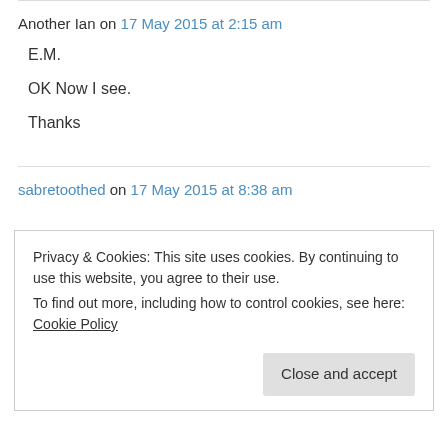Another Ian on 17 May 2015 at 2:15 am
E.M.
OK Now I see.
Thanks
sabretoothed on 17 May 2015 at 8:38 am
Privacy & Cookies: This site uses cookies. By continuing to use this website, you agree to their use. To find out more, including how to control cookies, see here: Cookie Policy